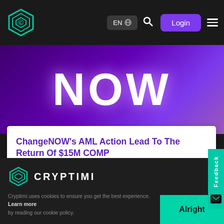EN  Login
[Figure (screenshot): Purple gradient hero banner with large white text 'NOW' in bold capitals with glow effect]
ChangeNOW's AML Action Lead To The Return Of $15M COMP
6 October, 2021
Read More
CRYPTIMI
Cryptimi uses cookies to ensure you get the best experience. Learn more by reading our cookie policy.